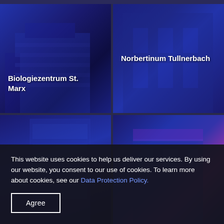[Figure (photo): Grid of four building photographs with blue overlay tints. Top-left: Biologiezentrum St. Marx building. Top-right: Norbertinum Tullnerbach building. Bottom-left: Modern building with glass facade. Bottom-right: Building at night with purple/pink lighting accent.]
Biologiezentrum St. Marx
Norbertinum Tullnerbach
This website uses cookies to help us deliver our services. By using our website, you consent to our use of cookies. To learn more about cookies, see our Data Protection Policy.
Agree